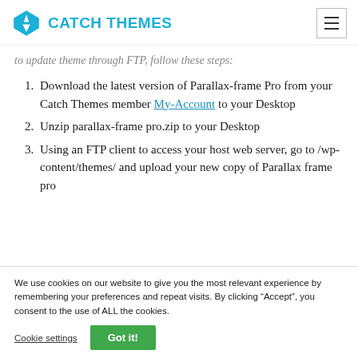CATCH THEMES
to update theme through FTP, follow these steps:
Download the latest version of Parallax-frame Pro from your Catch Themes member My-Account to your Desktop
Unzip parallax-frame pro.zip to your Desktop
Using an FTP client to access your host web server, go to /wp-content/themes/ and upload your new copy of Parallax frame pro
We use cookies on our website to give you the most relevant experience by remembering your preferences and repeat visits. By clicking “Accept”, you consent to the use of ALL the cookies.
Cookie settings | Got it!